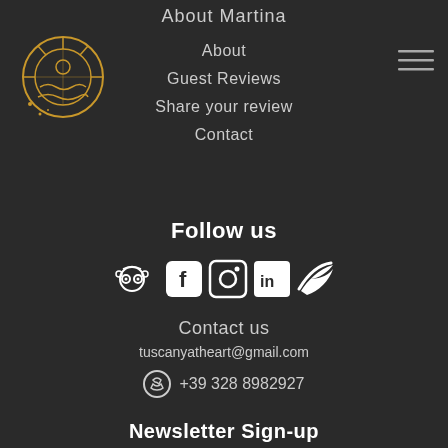About Martina
[Figure (logo): Circular golden line-art logo with sun and wave motifs]
About
Guest Reviews
Share your review
Contact
[Figure (illustration): Hamburger menu icon with three horizontal lines]
Follow us
[Figure (illustration): Social media icons: TripAdvisor, Facebook, Instagram, LinkedIn, Twitter]
Contact us
tuscanyatheart@gmail.com
+39 328 8982927
Newsletter Sign-up